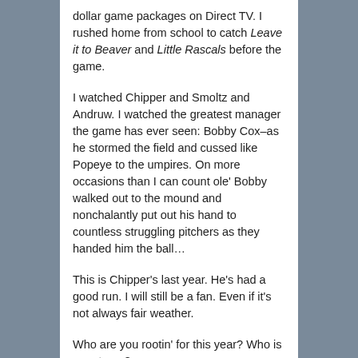dollar game packages on Direct TV. I rushed home from school to catch Leave it to Beaver and Little Rascals before the game.
I watched Chipper and Smoltz and Andruw. I watched the greatest manager the game has ever seen: Bobby Cox–as he stormed the field and cussed like Popeye to the umpires. On more occasions than I can count ole' Bobby walked out to the mound and nonchalantly put out his hand to countless struggling pitchers as they handed him the ball…
This is Chipper's last year. He's had a good run. I will still be a fan. Even if it's not always fair weather.
Who are you rootin' for this year? Who is your team?